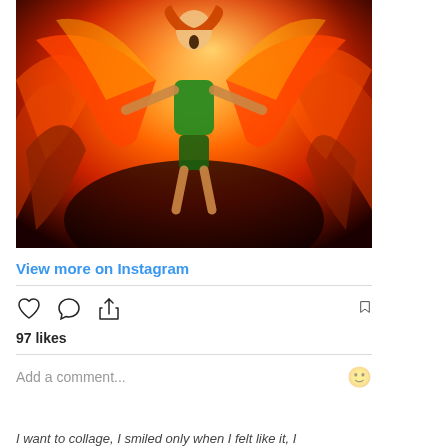[Figure (illustration): Digital fantasy illustration of a woman with glowing wings made of fire, wearing a green outfit, arms outstretched and mouth open, surrounded by swirling red and orange flames with dark background.]
View more on Instagram
97 likes
Add a comment...
I want to collage, I smiled only when I felt like it, I